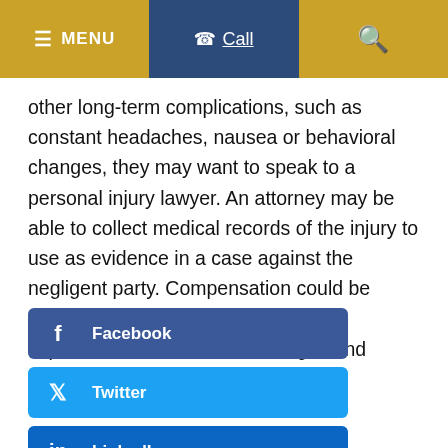≡ MENU   📞 Call   🔍
other long-term complications, such as constant headaches, nausea or behavioral changes, they may want to speak to a personal injury lawyer. An attorney may be able to collect medical records of the injury to use as evidence in a case against the negligent party. Compensation could be award for current and future hospital expenses as well as for lost wages and possibly pain and suffering.
Facebook
Twitter
LinkedIn